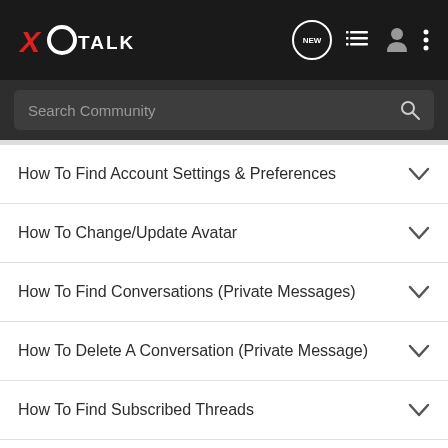XO TALK - Navigation header with logo, new message icon, list icon, user icon, and menu dots
Search Community
How To Find Account Settings & Preferences
How To Change/Update Avatar
How To Find Conversations (Private Messages)
How To Delete A Conversation (Private Message)
How To Find Subscribed Threads
How To Switch Between Dark Mode & Light Mode